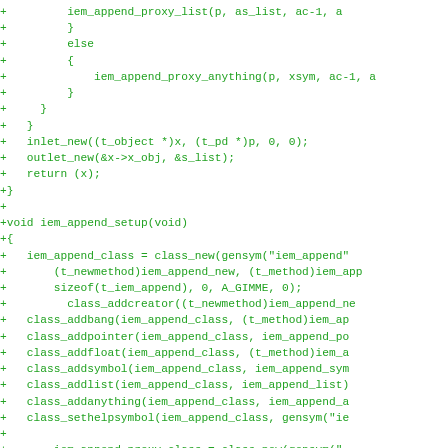[Figure (screenshot): Code diff snippet showing green added lines of C source code for iem_append functions including iem_append_proxy_anything, inlet_new, outlet_new, return, closing braces, iem_append_setup function definition with class setup calls including class_new, class_addcreator, class_addbang, class_addpointer, class_addfloat, class_addsymbol, class_addlist, class_addanything, class_sethelpsymbol, and iem_append_proxy_class setup lines.]